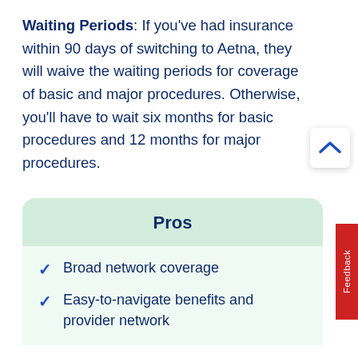Waiting Periods: If you've had insurance within 90 days of switching to Aetna, they will waive the waiting periods for coverage of basic and major procedures. Otherwise, you'll have to wait six months for basic procedures and 12 months for major procedures.
Pros
Broad network coverage
Easy-to-navigate benefits and provider network